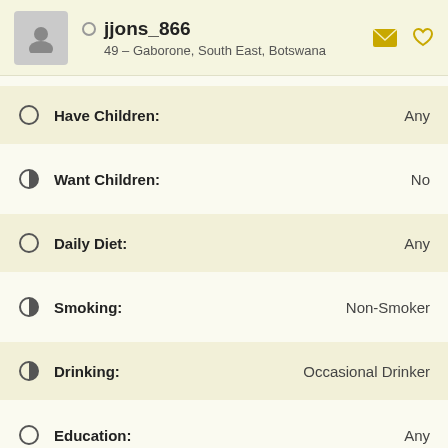jjons_866 — 49 – Gaborone, South East, Botswana
Have Children: Any
Want Children: No
Daily Diet: Any
Smoking: Non-Smoker
Drinking: Occasional Drinker
Education: Any
Occupation: Any